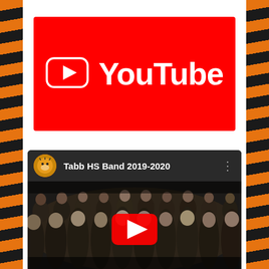[Figure (logo): YouTube logo — red background rectangle with white rounded-rectangle play icon and white 'YouTube' wordmark]
[Figure (screenshot): YouTube video thumbnail showing 'Tabb HS Band 2019-2020' channel page with tiger mascot avatar, group photo of students in dark clothing with a YouTube play button overlay]